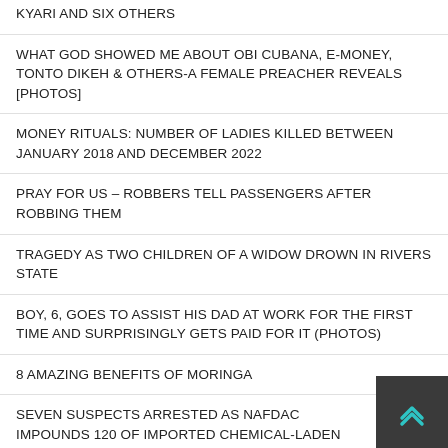KYARI AND SIX OTHERS
WHAT GOD SHOWED ME ABOUT OBI CUBANA, E-MONEY, TONTO DIKEH & OTHERS-A FEMALE PREACHER REVEALS [PHOTOS]
MONEY RITUALS: NUMBER OF LADIES KILLED BETWEEN JANUARY 2018 AND DECEMBER 2022
PRAY FOR US – ROBBERS TELL PASSENGERS AFTER ROBBING THEM
TRAGEDY AS TWO CHILDREN OF A WIDOW DROWN IN RIVERS STATE
BOY, 6, GOES TO ASSIST HIS DAD AT WORK FOR THE FIRST TIME AND SURPRISINGLY GETS PAID FOR IT (PHOTOS)
8 AMAZING BENEFITS OF MORINGA
SEVEN SUSPECTS ARRESTED AS NAFDAC IMPOUNDS 120 OF IMPORTED CHEMICAL-LADEN 'PONMO'